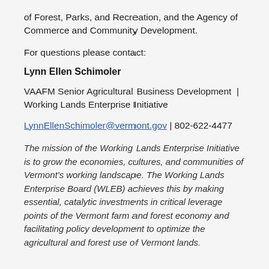of Forest, Parks, and Recreation, and the Agency of Commerce and Community Development.
For questions please contact:
Lynn Ellen Schimoler
VAAFM Senior Agricultural Business Development  | Working Lands Enterprise Initiative
LynnEllenSchimoler@vermont.gov | 802-622-4477
The mission of the Working Lands Enterprise Initiative is to grow the economies, cultures, and communities of Vermont's working landscape. The Working Lands Enterprise Board (WLEB) achieves this by making essential, catalytic investments in critical leverage points of the Vermont farm and forest economy and facilitating policy development to optimize the agricultural and forest use of Vermont lands.